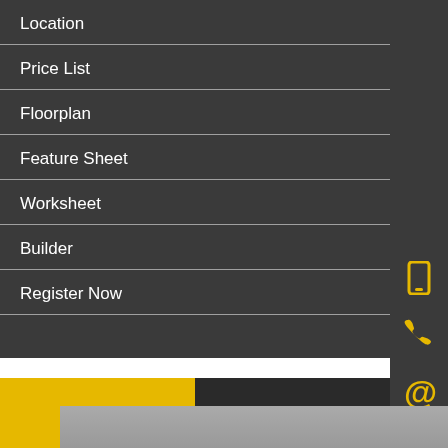Location
Price List
Floorplan
Feature Sheet
Worksheet
Builder
Register Now
[Figure (photo): Partial view of a navigation menu UI on a dark background with yellow/gold accent icons on the right sidebar (phone, mobile, at-symbol). Bottom shows a yellow block and dark block with a partial photo below.]